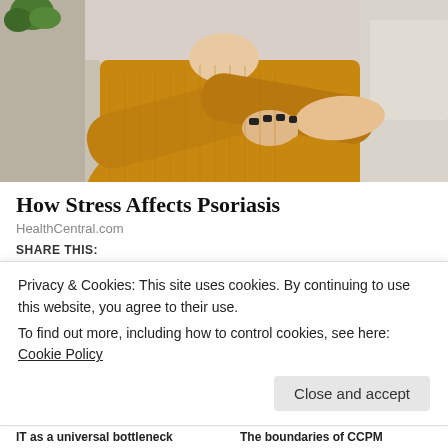[Figure (photo): A woman in a yellow/mustard knit sweater sitting on a light gray sofa, holding and scratching her forearm/elbow. The background shows cushions. Image relates to psoriasis and stress.]
How Stress Affects Psoriasis
HealthCentral.com
SHARE THIS:
Twitter  Facebook  Email  LinkedIn
Privacy & Cookies: This site uses cookies. By continuing to use this website, you agree to their use.
To find out more, including how to control cookies, see here: Cookie Policy
Close and accept
IT as a universal bottleneck
The boundaries of CCPM